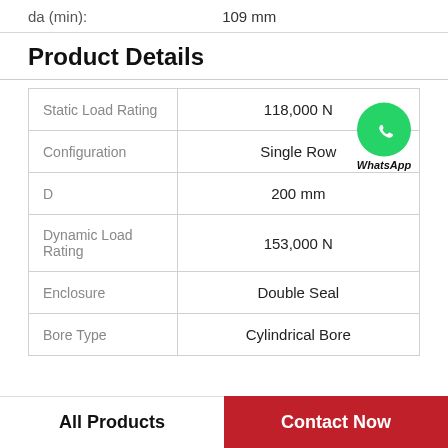da (min): 109 mm
Product Details
|  |  |
| --- | --- |
| Static Load Rating | 118,000 N |
| Configuration | Single Row |
| D | 200 mm |
| Dynamic Load Rating | 153,000 N |
| Enclosure | Double Seal |
| Bore Type | Cylindrical Bore |
WhatsApp Online
All Products | Contact Now